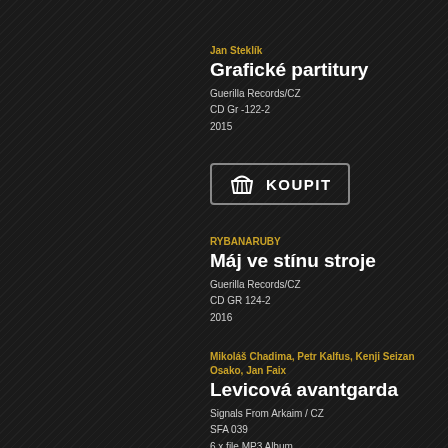Jan Steklík
Grafické partitury
Guerilla Records/CZ
CD Gr -122-2
2015
[Figure (other): Shopping basket icon with KOUPIT button]
RYBANARUBY
Máj ve stínu stroje
Guerilla Records/CZ
CD GR 124-2
2016
Mikoláš Chadima, Petr Kalfus, Kenji Seizan Osako, Jan Faix
Levicová avantgarda
Signals From Arkaim / CZ
SFA 039
6 x file MP3 Album
2015